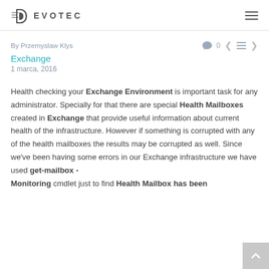EVOTEC
By Przemyslaw Klys
Exchange
1 marca, 2016
Health checking your Exchange Environment is important task for any administrator. Specially for that there are special Health Mailboxes created in Exchange that provide useful information about current health of the infrastructure. However if something is corrupted with any of the health mailboxes the results may be corrupted as well. Since we've been having some errors in our Exchange infrastructure we have used get-mailbox -Monitoring cmdlet just to find Health Mailbox has been